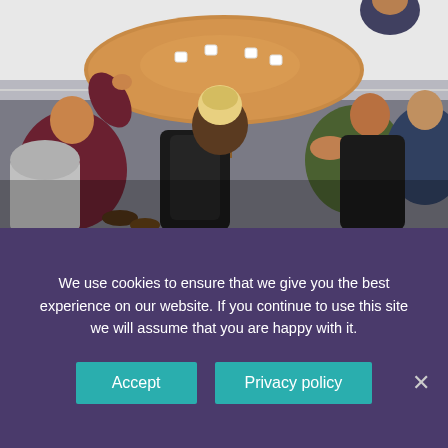[Figure (photo): Group of people sitting in office chairs around an oval wooden meeting table, viewed from above-ish angle, in a modern conference room setting.]
UNW news / 29 October 2019
UNW brings together ambitious retailers at Who Can Fix My Car
We use cookies to ensure that we give you the best experience on our website. If you continue to use this site we will assume that you are happy with it.